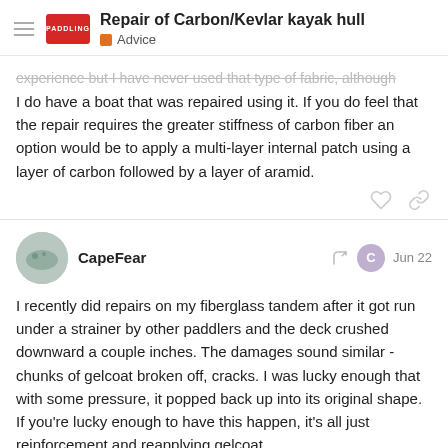Repair of Carbon/Kevlar kayak hull — Advice
experience but I have never used that type of fabric, although I do have a boat that was repaired using it. If you do feel that the repair requires the greater stiffness of carbon fiber an option would be to apply a multi-layer internal patch using a layer of carbon followed by a layer of aramid.
CapeFear — Jun 22
I recently did repairs on my fiberglass tandem after it got run under a strainer by other paddlers and the deck crushed downward a couple inches. The damages sound similar - chunks of gelcoat broken off, cracks. I was lucky enough that with some pressure, it popped back up into its original shape. If you're lucky enough to have this happen, it's all just reinforcement and reapplying gelcoat.
My question regarding CraigF's suggestion to let it cure for a